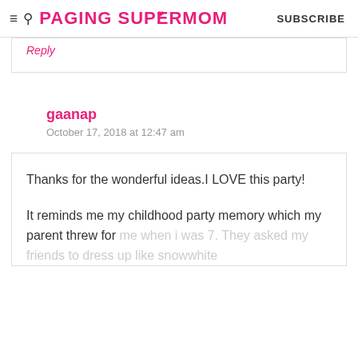≡ 🔍 PAGING SUPERMOM   SUBSCRIBE
Reply
gaanap
October 17, 2018 at 12:47 am
Thanks for the wonderful ideas.I LOVE this party!

It reminds me my childhood party memory which my parent threw for me when i was 7. They asked my friends to dress up like snowwhite